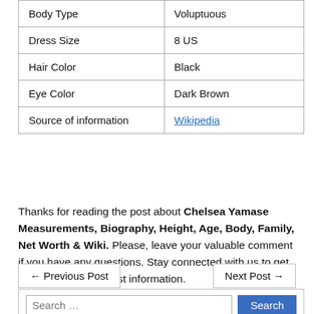| Body Type | Voluptuous |
| Dress Size | 8 US |
| Hair Color | Black |
| Eye Color | Dark Brown |
| Source of information | Wikipedia |
Thanks for reading the post about Chelsea Yamase Measurements, Biography, Height, Age, Body, Family, Net Worth & Wiki. Please, leave your valuable comment if you have any questions. Stay connected with us to get more celebrities' latest information.